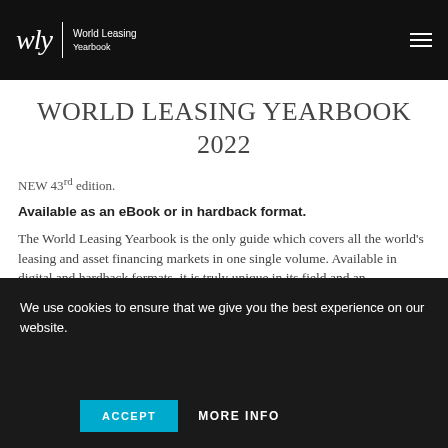WLY World Leasing Yearbook
WORLD LEASING YEARBOOK 2022
NEW 43rd edition.
Available as an eBook or in hardback format.
The World Leasing Yearbook is the only guide which covers all the world’s leasing and asset financing markets in one single volume. Available in digital and hardback formats, it is truly unique in its field and an indispensable resource.
We use cookies to ensure that we give you the best experience on our website.